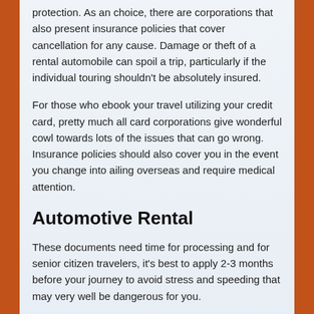protection. As an choice, there are corporations that also present insurance policies that cover cancellation for any cause. Damage or theft of a rental automobile can spoil a trip, particularly if the individual touring shouldn't be absolutely insured.
For those who ebook your travel utilizing your credit card, pretty much all card corporations give wonderful cowl towards lots of the issues that can go wrong. Insurance policies should also cover you in the event you change into ailing overseas and require medical attention.
Automotive Rental
These documents need time for processing and for senior citizen travelers, it's best to apply 2-3 months before your journey to avoid stress and speeding that may very well be dangerous for you.
In case you are a senior considering traveling, it's absolutely essential that you just buy travel insurance for seniors. Among the varied insurance coverage firms are those who offer basic insurance coverage protection, including health, automobile, homeowners, life, incapacity, and so forth., and those who concentrate on